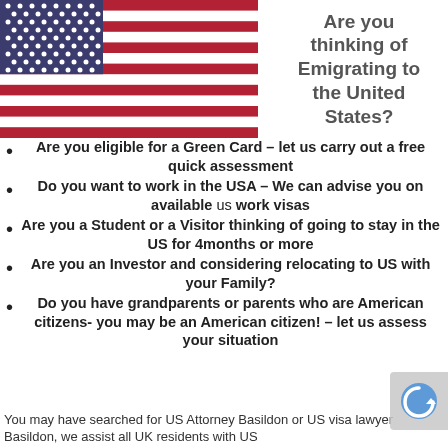[Figure (illustration): American flag (stars and stripes) in the top-left area of the page]
Are you thinking of Emigrating to the United States?
Are you eligible for a Green Card – let us carry out a free quick assessment
Do you want to work in the USA – We can advise you on available us work visas
Are you a Student or a Visitor thinking of going to stay in the US for 4months or more
Are you an Investor and considering relocating to US with your Family?
Do you have grandparents or parents who are American citizens- you may be an American citizen! – let us assess your situation
You may have searched for US Attorney Basildon or US visa lawyer Basildon, we assist all UK residents with US